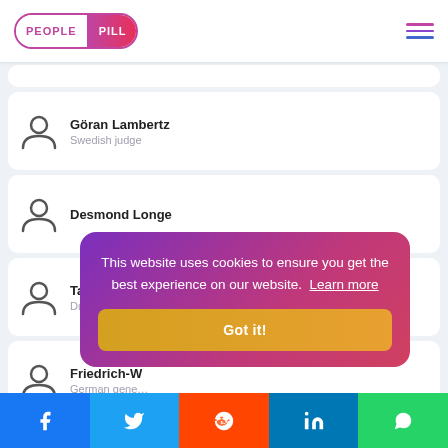PEOPLE PILL
Göran Lambertz — Swedish judge
Desmond Longe
Tassilo III, Duke of Bavaria — Duke of Bavaria
Friedrich-W... — German gene...
Karl von E... — German polit...
Virginia P...
This website uses cookies to ensure you get the best experience on our website. Learn more
Facebook Twitter Reddit LinkedIn WhatsApp